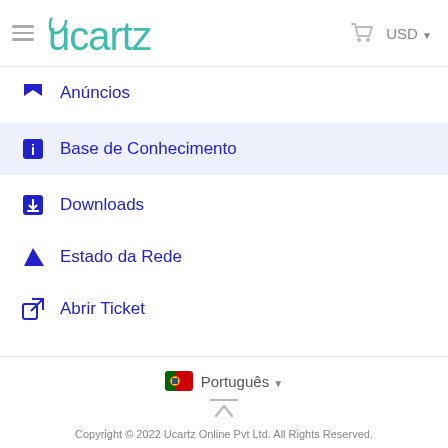Ucartz | USD
Anúncios
Base de Conhecimento
Downloads
Estado da Rede
Abrir Ticket
Português | Copyright © 2022 Ucartz Online Pvt Ltd. All Rights Reserved.